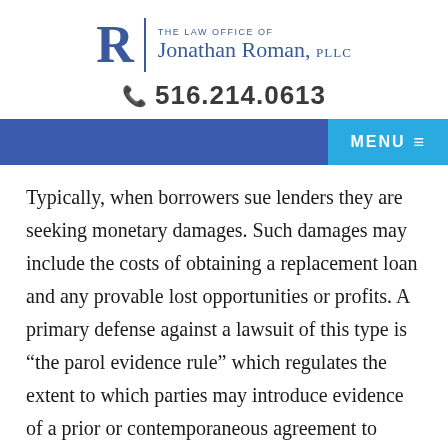THE LAW OFFICE OF Jonathan Roman, PLLC | 516.214.0613
Typically, when borrowers sue lenders they are seeking monetary damages. Such damages may include the costs of obtaining a replacement loan and any provable lost opportunities or profits. A primary defense against a lawsuit of this type is “the parol evidence rule” which regulates the extent to which parties may introduce evidence of a prior or contemporaneous agreement to explain or alter the contract being questioned. Basically,